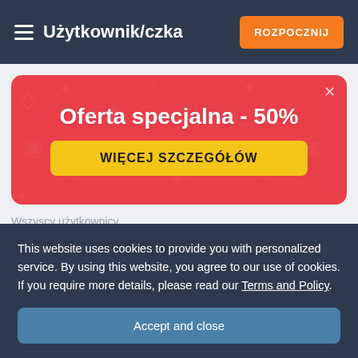Użytkownik/czka  ROZPOCZNIJ
[Figure (infographic): Red promotional banner with text 'Oferta specjalna - 50%' and a yellow button 'WIĘCEJ SZCZEGÓŁÓW']
Wszyscy użytkownicy
This website uses cookies to provide you with personalized service. By using this website, you agree to our use of cookies. If you require more details, please read our Terms and Policy.
Accept and close